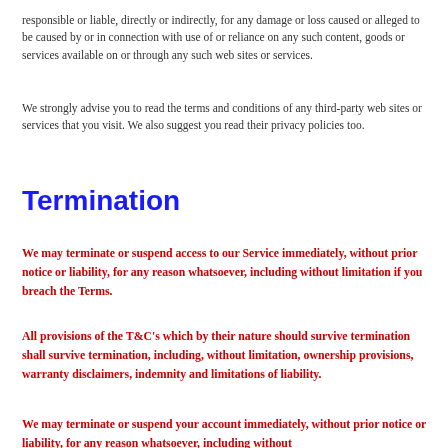responsible or liable, directly or indirectly, for any damage or loss caused or alleged to be caused by or in connection with use of or reliance on any such content, goods or services available on or through any such web sites or services.
We strongly advise you to read the terms and conditions of any third-party web sites or services that you visit. We also suggest you read their privacy policies too.
Termination
We may terminate or suspend access to our Service immediately, without prior notice or liability, for any reason whatsoever, including without limitation if you breach the Terms.
All provisions of the T&C's which by their nature should survive termination shall survive termination, including, without limitation, ownership provisions, warranty disclaimers, indemnity and limitations of liability.
We may terminate or suspend your account immediately, without prior notice or liability, for any reason whatsoever, including without